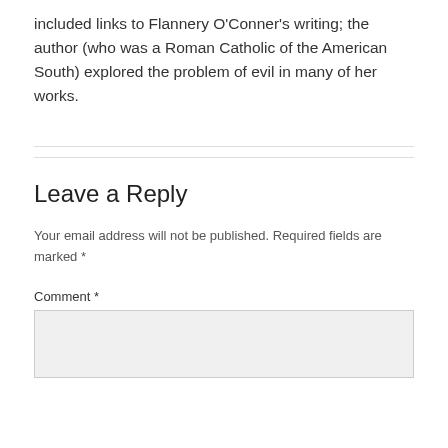included links to Flannery O'Conner's writing; the author (who was a Roman Catholic of the American South) explored the problem of evil in many of her works.
Your email address will not be published. Required fields are marked *
Leave a Reply
Comment *